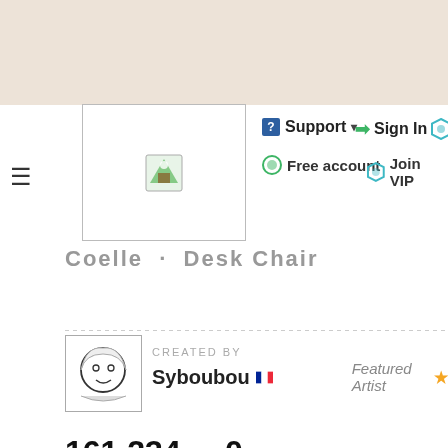[Figure (screenshot): Website navigation bar with Support, Sign In, Gift, Free account, Join VIP options on a beige and white background]
Coelle · Desk Chair
CREATED BY Syboubou 🇫🇷  Featured Artist ⭐
161,234 DOWNLOADS   0 COMMENTS
⊞ See more and download
We use cookies to improve your experience, measure your visits, and show you personalized advertising. You agree that by closing this notice, interacting with any link or button outside this notice, or by continuing to browse or download, you accept our Privacy Policy and Terms of Use.
I accept